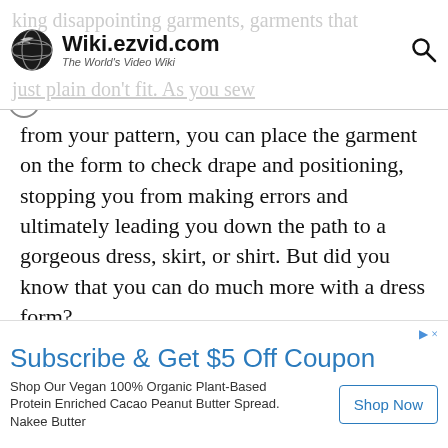Wiki.ezvid.com — The World's Video Wiki
from your pattern, you can place the garment on the form to check drape and positioning, stopping you from making errors and ultimately leading you down the path to a gorgeous dress, skirt, or shirt. But did you know that you can do much more with a dress form?

For instance, these handy items are perfect for obtaining a straight, no-headaches hem. Imagine that you've just bought a new dress, and it's simply too long. You could attempt to measure the hem
Subscribe & Get $5 Off Coupon
Shop Our Vegan 100% Organic Plant-Based Protein Enriched Cacao Peanut Butter Spread. Nakee Butter
Shop Now